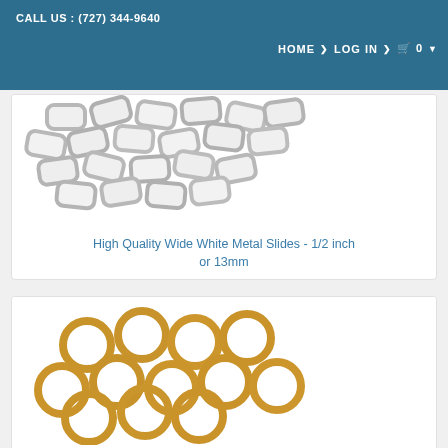CALL US : (727) 344-9640   HOME > LOG IN > 🛒 0
[Figure (photo): Pile of white metal slider hardware pieces (1/2 inch or 13mm)]
High Quality Wide White Metal Slides - 1/2 inch or 13mm
[Figure (photo): Pile of gold/brass colored metal O-rings]